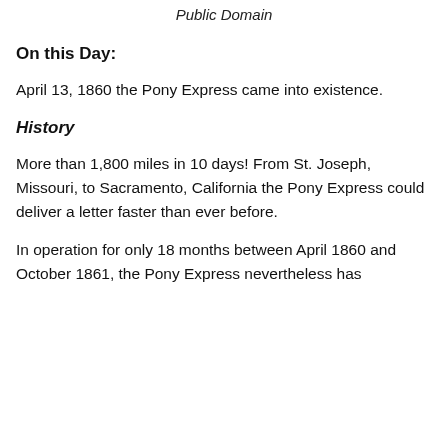Public Domain
On this Day:
April 13, 1860 the Pony Express came into existence.
History
More than 1,800 miles in 10 days! From St. Joseph, Missouri, to Sacramento, California the Pony Express could deliver a letter faster than ever before.
In operation for only 18 months between April 1860 and October 1861, the Pony Express nevertheless has become synonymous with the Old West, both...